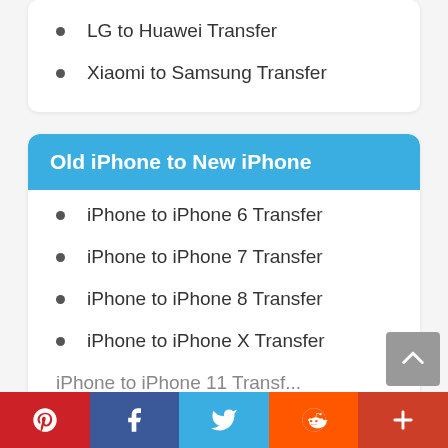LG to Huawei Transfer
Xiaomi to Samsung Transfer
Old iPhone to New iPhone
iPhone to iPhone 6 Transfer
iPhone to iPhone 7 Transfer
iPhone to iPhone 8 Transfer
iPhone to iPhone X Transfer
iPhone to iPhone 11 Transfer